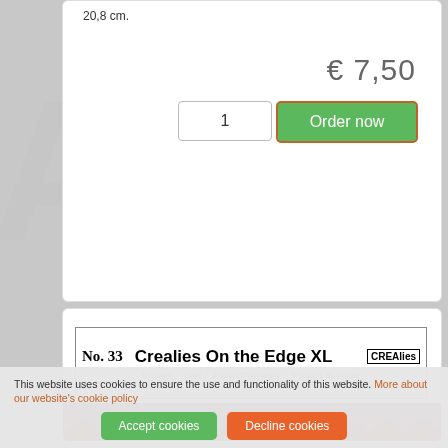20,8 cm.
€ 7,50
1
Order now
[Figure (other): Product card showing Crealies On the Edge XL No. 33 die packaging strip with logo]
This website uses cookies to ensure the use and functionality of this website. More about our website's cookie policy
Accept cookies
Decline cookies